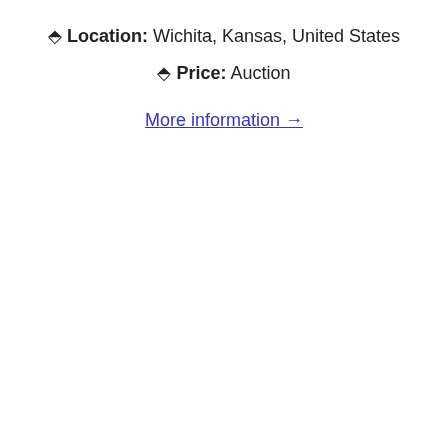📍 Location: Wichita, Kansas, United States
📍 Price: Auction
More information →